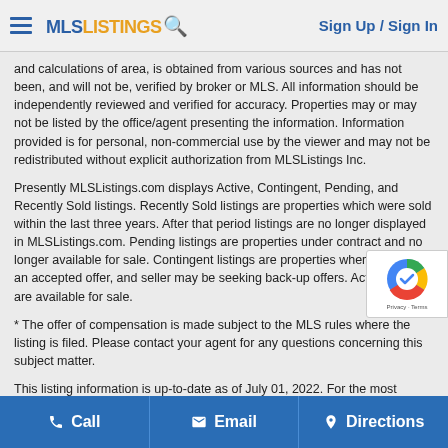MLS Listings | Sign Up / Sign In
and calculations of area, is obtained from various sources and has not been, and will not be, verified by broker or MLS. All information should be independently reviewed and verified for accuracy. Properties may or may not be listed by the office/agent presenting the information. Information provided is for personal, non-commercial use by the viewer and may not be redistributed without explicit authorization from MLSListings Inc.
Presently MLSListings.com displays Active, Contingent, Pending, and Recently Sold listings. Recently Sold listings are properties which were sold within the last three years. After that period listings are no longer displayed in MLSListings.com. Pending listings are properties under contract and no longer available for sale. Contingent listings are properties where there is an accepted offer, and seller may be seeking back-up offers. Active listings are available for sale.
* The offer of compensation is made subject to the MLS rules where the listing is filed. Please contact your agent for any questions concerning this subject matter.
This listing information is up-to-date as of July 01, 2022. For the most information, please contact The Madani Team, (831) 224-6683.
Call | Email | Directions